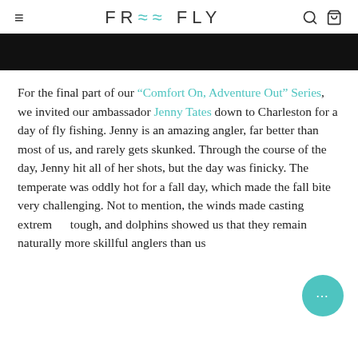FREE FLY
[Figure (photo): Black bar image placeholder at top of article]
For the final part of our "Comfort On, Adventure Out" Series, we invited our ambassador Jenny Tates down to Charleston for a day of fly fishing. Jenny is an amazing angler, far better than most of us, and rarely gets skunked. Through the course of the day, Jenny hit all of her shots, but the day was finicky. The temperate was oddly hot for a fall day, which made the fall bite very challenging. Not to mention, the winds made casting extrem tough, and dolphins showed us that they remain naturally more skillful anglers than us